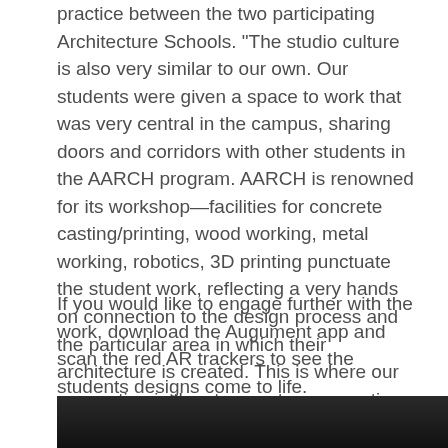practice between the two participating Architecture Schools. “The studio culture is also very similar to our own. Our students were given a space to work that was very central in the campus, sharing doors and corridors with other students in the AARCH program. AARCH is renowned for its workshop—facilities for concrete casting/printing, wood working, metal working, robotics, 3D printing punctuate the student work, reflecting a very hands on connection to the design process and the particular area in which their architecture is created. This is where our connection is the strongest; a connection to site and place.”
If you would like to engage further with the work, download the Augument app and scan the red AR trackers to see the students designs come to life. https://www.augment.com
[Figure (photo): Dark photograph at bottom of page, partially visible]